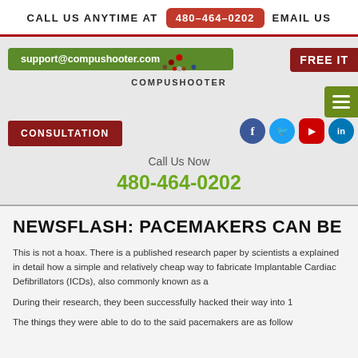CALL US ANYTIME AT 480-464-0202 EMAIL US
[Figure (screenshot): Website header with email bar (support@compushooter.com), FREE IT button, CONSULTATION button, Compushooter logo, social media icons (Facebook, Twitter, YouTube, LinkedIn), Call Us Now label, phone number 480-464-0202]
NEWSFLASH: PACEMAKERS CAN BE
This is not a hoax. There is a published research paper by scientists a explained in detail how a simple and relatively cheap way to fabricate Implantable Cardiac Defibrillators (ICDs), also commonly known as a
During their research, they been successfully hacked their way into 1
The things they were able to do to the said pacemakers are as follow